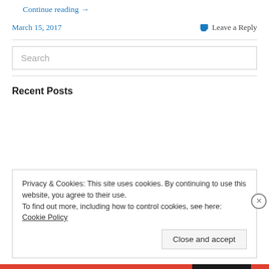Continue reading →
March 15, 2017   Leave a Reply
Search
Recent Posts
Privacy & Cookies: This site uses cookies. By continuing to use this website, you agree to their use.
To find out more, including how to control cookies, see here: Cookie Policy
Close and accept